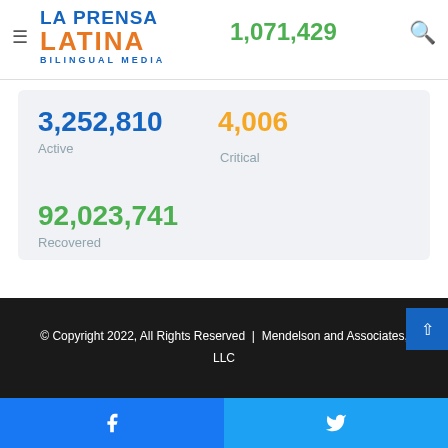[Figure (logo): La Prensa Latina Bilingual Media logo with blue text]
1,071,429
3,252,810
Active
4,006
Critical
92,023,741
Recovered
Last Update on: September 1, 2022 at 6:57 am
© Copyright 2022, All Rights Reserved  |  Mendelson and Associates, LLC